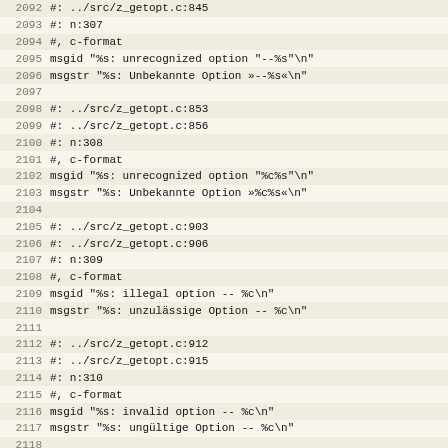Code/diff view showing lines 2092-2124 of a .po translation file with getopt and mainfrm entries